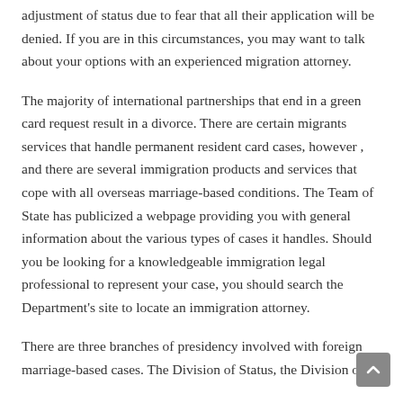adjustment of status due to fear that all their application will be denied. If you are in this circumstances, you may want to talk about your options with an experienced migration attorney.
The majority of international partnerships that end in a green card request result in a divorce. There are certain migrants services that handle permanent resident card cases, however , and there are several immigration products and services that cope with all overseas marriage-based conditions. The Team of State has publicized a webpage providing you with general information about the various types of cases it handles. Should you be looking for a knowledgeable immigration legal professional to represent your case, you should search the Department's site to locate an immigration attorney.
There are three branches of presidency involved with foreign marriage-based cases. The Division of Status, the Division of